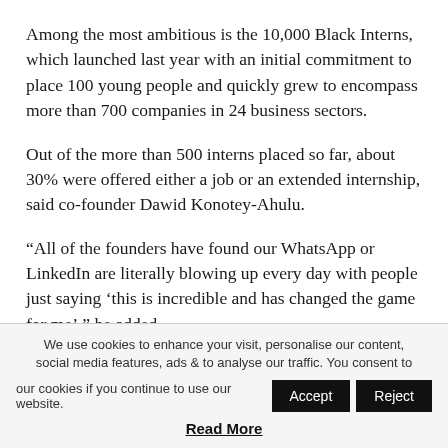Among the most ambitious is the 10,000 Black Interns, which launched last year with an initial commitment to place 100 young people and quickly grew to encompass more than 700 companies in 24 business sectors.
Out of the more than 500 interns placed so far, about 30% were offered either a job or an extended internship, said co-founder Dawid Konotey-Ahulu.
“All of the founders have found our WhatsApp or LinkedIn are literally blowing up every day with people just saying ‘this is incredible and has changed the game for me’,” he added.
We use cookies to enhance your visit, personalise our content, social media features, ads & to analyse our traffic. You consent to our cookies if you continue to use our website. Accept Reject Read More